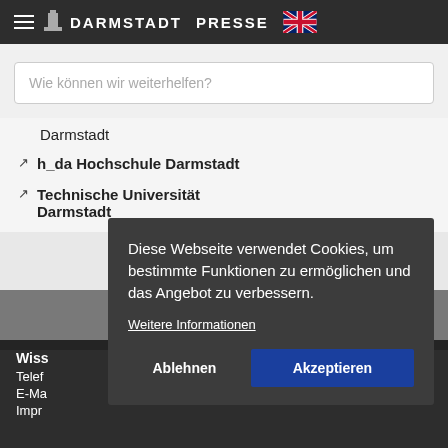≡ 🏛 DARMSTADT  PRESSE 🇬🇧
Wie können wir weiterhelfen?
Darmstadt
↗ h_da Hochschule Darmstadt
↗ Technische Universität Darmstadt
Diese Webseite verwendet Cookies, um bestimmte Funktionen zu ermöglichen und das Angebot zu verbessern.
Weitere Informationen
Ablehnen
Akzeptieren
Wiss
Telef
E-Ma
Impr